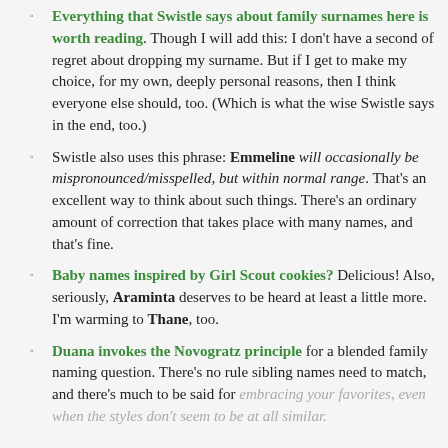Everything that Swistle says about family surnames here is worth reading. Though I will add this: I don't have a second of regret about dropping my surname. But if I get to make my choice, for my own, deeply personal reasons, then I think everyone else should, too. (Which is what the wise Swistle says in the end, too.)
Swistle also uses this phrase: Emmeline will occasionally be mispronounced/misspelled, but within normal range. That's an excellent way to think about such things. There's an ordinary amount of correction that takes place with many names, and that's fine.
Baby names inspired by Girl Scout cookies? Delicious! Also, seriously, Araminta deserves to be heard at least a little more. I'm warming to Thane, too.
Duana invokes the Novogratz principle for a blended family naming question. There's no rule sibling names need to match, and there's much to be said for embracing your favorites, even when the styles don't seem to be at all similar.